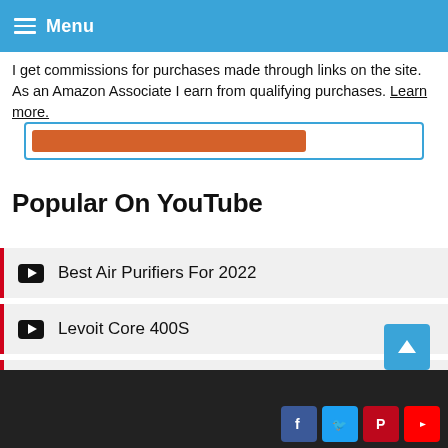Menu
I get commissions for purchases made through links on the site. As an Amazon Associate I earn from qualifying purchases. Learn more.
Popular On YouTube
Best Air Purifiers For 2022
Levoit Core 400S
Blueair 211+